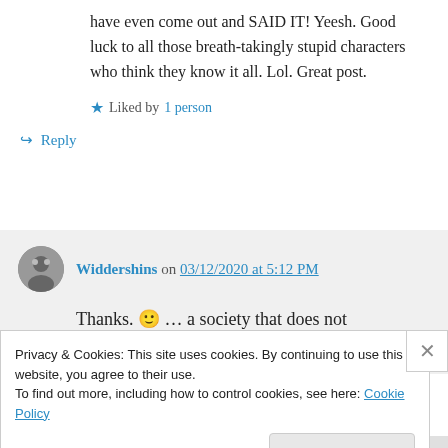have even come out and SAID IT! Yeesh. Good luck to all those breath-takingly stupid characters who think they know it all. Lol. Great post.
★ Liked by 1 person
↪ Reply
Widdershins on 03/12/2020 at 5:12 PM
Thanks. 🙂 … a society that does not recognise a resource that's right in front of
Privacy & Cookies: This site uses cookies. By continuing to use this website, you agree to their use.
To find out more, including how to control cookies, see here: Cookie Policy
Close and accept